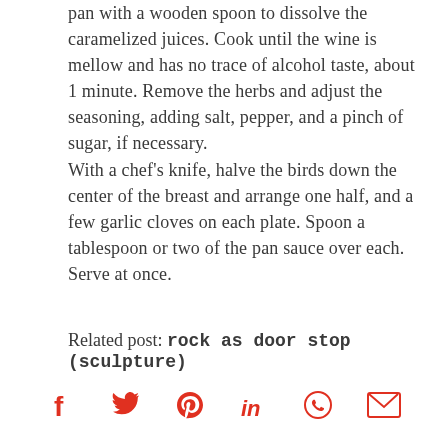pan with a wooden spoon to dissolve the caramelized juices. Cook until the wine is mellow and has no trace of alcohol taste, about 1 minute. Remove the herbs and adjust the seasoning, adding salt, pepper, and a pinch of sugar, if necessary.
With a chef's knife, halve the birds down the center of the breast and arrange one half, and a few garlic cloves on each plate. Spoon a tablespoon or two of the pan sauce over each. Serve at once.
Related post: rock as door stop (sculpture)
[Figure (other): Social media sharing icons: Facebook, Twitter, Pinterest, LinkedIn, WhatsApp, Email — all in red/coral color]